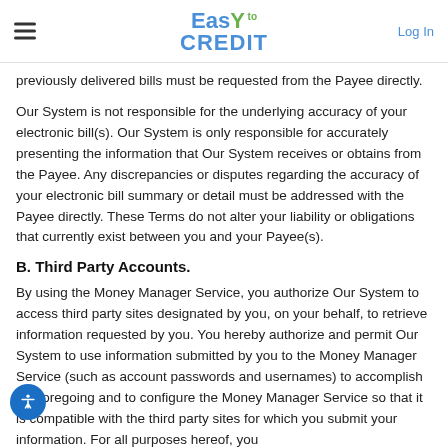Easy to CREDIT — Log In
previously delivered bills must be requested from the Payee directly.
Our System is not responsible for the underlying accuracy of your electronic bill(s). Our System is only responsible for accurately presenting the information that Our System receives or obtains from the Payee. Any discrepancies or disputes regarding the accuracy of your electronic bill summary or detail must be addressed with the Payee directly. These Terms do not alter your liability or obligations that currently exist between you and your Payee(s).
B. Third Party Accounts.
By using the Money Manager Service, you authorize Our System to access third party sites designated by you, on your behalf, to retrieve information requested by you. You hereby authorize and permit Our System to use information submitted by you to the Money Manager Service (such as account passwords and usernames) to accomplish the foregoing and to configure the Money Manager Service so that it is compatible with the third party sites for which you submit your information. For all purposes hereof, you